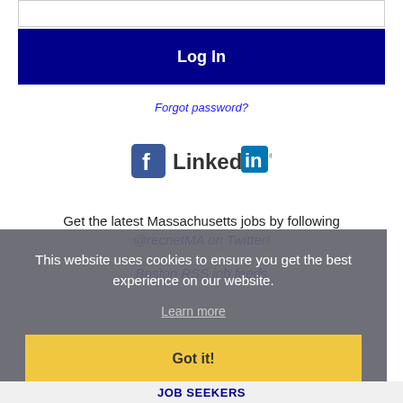[Figure (screenshot): Login button area with dark navy blue background and white bold 'Log In' text]
Forgot password?
[Figure (logo): Facebook and LinkedIn social media icons side by side]
Get the latest Massachusetts jobs by following @recnetMA on Twitter!
Boston RSS job feeds
This website uses cookies to ensure you get the best experience on our website.
Learn more
Got it!
JOB SEEKERS